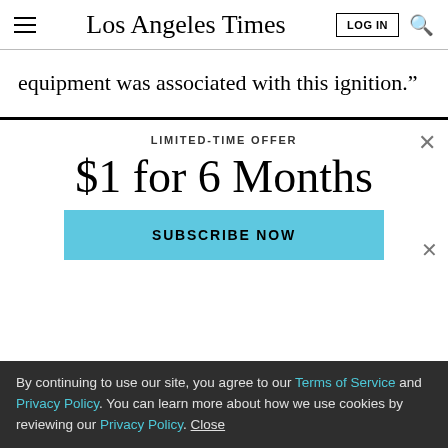Los Angeles Times
equipment was associated with this ignition.”
LIMITED-TIME OFFER
$1 for 6 Months
SUBSCRIBE NOW
By continuing to use our site, you agree to our Terms of Service and Privacy Policy. You can learn more about how we use cookies by reviewing our Privacy Policy. Close